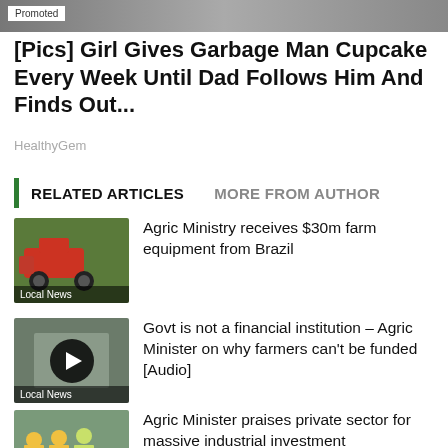[Figure (photo): Promoted banner image at top of page with 'Promoted' label]
[Pics] Girl Gives Garbage Man Cupcake Every Week Until Dad Follows Him And Finds Out...
HealthyGem
RELATED ARTICLES    MORE FROM AUTHOR
[Figure (photo): Thumbnail image of farm equipment/tractor with 'Local News' label]
Agric Ministry receives $30m farm equipment from Brazil
[Figure (photo): Thumbnail image with play button overlay and 'Local News' label]
Govt is not a financial institution – Agric Minister on why farmers can't be funded [Audio]
[Figure (photo): Thumbnail image of people in hard hats and vests with 'Local News' label]
Agric Minister praises private sector for massive industrial investment